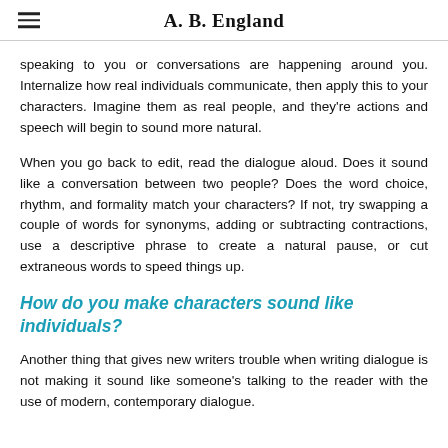A. B. England
speaking to you or conversations are happening around you. Internalize how real individuals communicate, then apply this to your characters. Imagine them as real people, and they're actions and speech will begin to sound more natural.
When you go back to edit, read the dialogue aloud. Does it sound like a conversation between two people? Does the word choice, rhythm, and formality match your characters? If not, try swapping a couple of words for synonyms, adding or subtracting contractions, use a descriptive phrase to create a natural pause, or cut extraneous words to speed things up.
How do you make characters sound like individuals?
Another thing that gives new writers trouble when writing dialogue is not making it sound like someone's talking to the reader with the use of modern, contemporary dialogue.